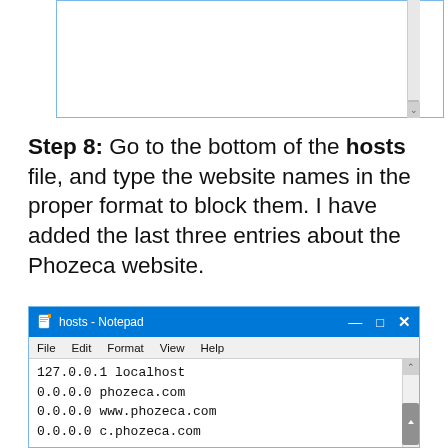[Figure (screenshot): Top portion of a text area/notepad window with a light blue border and scrollbar on the right side, content area empty]
Step 8: Go to the bottom of the hosts file, and type the website names in the proper format to block them. I have added the last three entries about the Phozeca website.
[Figure (screenshot): Notepad window titled 'hosts - Notepad' showing file contents: 127.0.0.1 localhost, 0.0.0.0 phozeca.com, 0.0.0.0 www.phozeca.com, 0.0.0.0 c.phozeca.com]